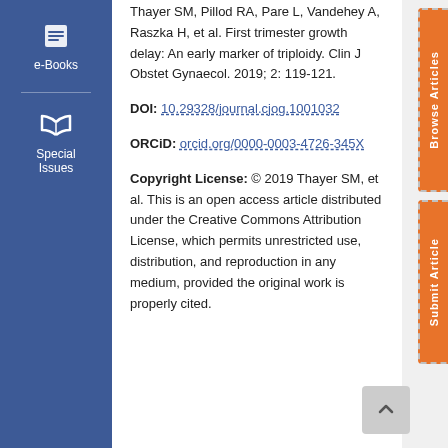[Figure (other): Left sidebar navigation with e-Books icon and Special Issues icon on dark blue background]
Thayer SM, Pillod RA, Pare L, Vandehey A, Raszka H, et al. First trimester growth delay: An early marker of triploidy. Clin J Obstet Gynaecol. 2019; 2: 119-121.
DOI: 10.29328/journal.cjog.1001032
ORCiD: orcid.org/0000-0003-4726-345X
Copyright License: © 2019 Thayer SM, et al. This is an open access article distributed under the Creative Commons Attribution License, which permits unrestricted use, distribution, and reproduction in any medium, provided the original work is properly cited.